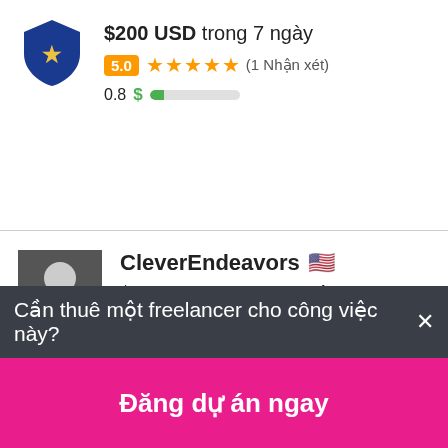$200 USD trong 7 ngày
5.0 ★★★★★ (1 Nhận xét)
0.8 $ [progress bar]
CleverEndeavors 🇺🇸
$150 USD trong 40 ngày
5.0 ★★★★★ (1 Nhận xét)
1.0 $ [progress bar]
Cần thuê một freelancer cho công việc này? ×
Đăng dự án ngay